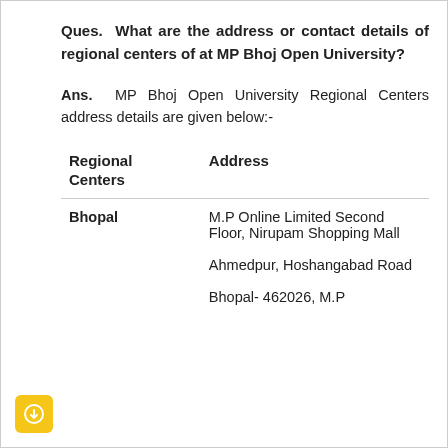Ques. What are the address or contact details of regional centers of at MP Bhoj Open University?
Ans. MP Bhoj Open University Regional Centers address details are given below:-
| Regional Centers | Address |
| --- | --- |
| Bhopal | M.P Online Limited Second Floor, Nirupam Shopping Mall
Ahmedpur, Hoshangabad Road
Bhopal- 462026, M.P |